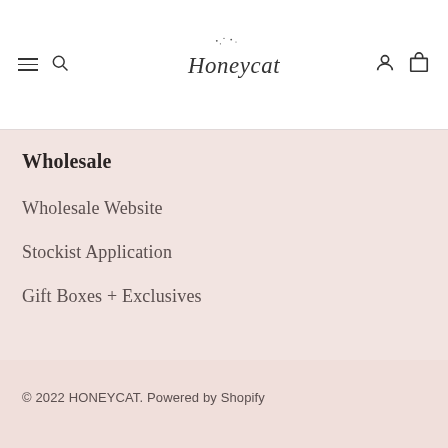Honeycat [logo with navigation icons]
Wholesale
Wholesale Website
Stockist Application
Gift Boxes + Exclusives
© 2022 HONEYCAT. Powered by Shopify